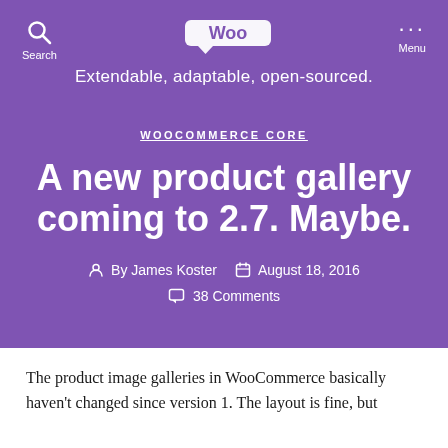Search | WooCommerce — Extendable, adaptable, open-sourced. | Menu
WOOCOMMERCE CORE
A new product gallery coming to 2.7. Maybe.
By James Koster   August 18, 2016   38 Comments
The product image galleries in WooCommerce basically haven't changed since version 1. The layout is fine, but